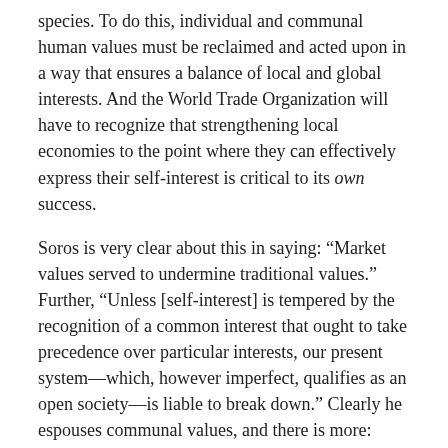species. To do this, individual and communal human values must be reclaimed and acted upon in a way that ensures a balance of local and global interests. And the World Trade Organization will have to recognize that strengthening local economies to the point where they can effectively express their self-interest is critical to its own success.
Soros is very clear about this in saying: “Market values served to undermine traditional values.” Further, “Unless [self-interest] is tempered by the recognition of a common interest that ought to take precedence over particular interests, our present system—which, however imperfect, qualifies as an open society—is liable to break down.” Clearly he espouses communal values, and there is more: “Unsure of what they stand for, people increasingly rely on money as the criterion of value... What used to be a medium of exchange has usurped the place of fundamental values.”